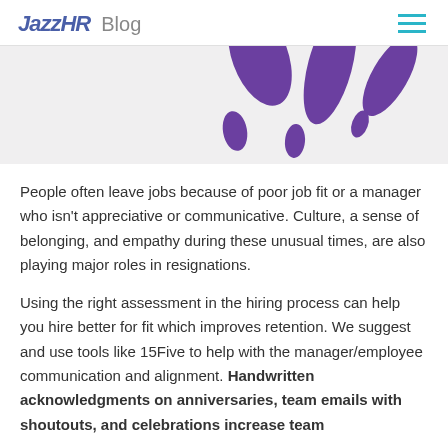JazzHR Blog
[Figure (illustration): Partial view of a purple decorative illustration, showing abstract splash or hand shapes in purple color, cropped at the top of the content area.]
People often leave jobs because of poor job fit or a manager who isn't appreciative or communicative. Culture, a sense of belonging, and empathy during these unusual times, are also playing major roles in resignations.
Using the right assessment in the hiring process can help you hire better for fit which improves retention. We suggest and use tools like 15Five to help with the manager/employee communication and alignment. Handwritten acknowledgments on anniversaries, team emails with shoutouts, and celebrations increase team